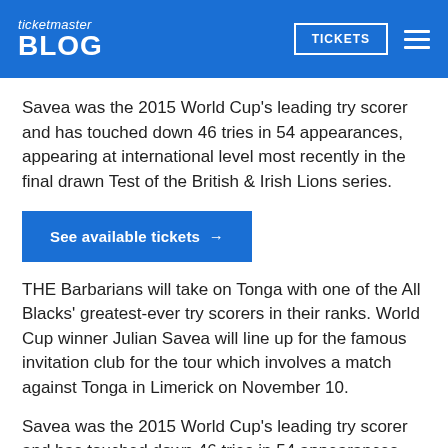ticketmaster BLOG | TICKETS
Savea was the 2015 World Cup's leading try scorer and has touched down 46 tries in 54 appearances, appearing at international level most recently in the final drawn Test of the British & Irish Lions series.
See available tickets →
THE Barbarians will take on Tonga with one of the All Blacks' greatest-ever try scorers in their ranks. World Cup winner Julian Savea will line up for the famous invitation club for the tour which involves a match against Tonga in Limerick on November 10.
Savea was the 2015 World Cup's leading try scorer and has touched down 46 tries in 54 appearances,